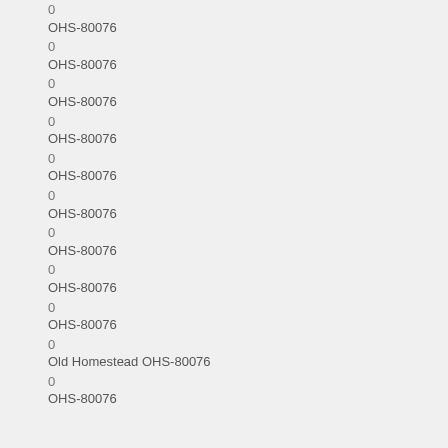0
OHS-80076
0
OHS-80076
0
OHS-80076
0
OHS-80076
0
OHS-80076
0
OHS-80076
0
OHS-80076
0
OHS-80076
0
OHS-80076
0
Old Homestead OHS-80076
0
OHS-80076